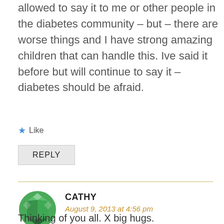allowed to say it to me or other people in the diabetes community – but – there are worse things and I have strong amazing children that can handle this. Ive said it before but will continue to say it – diabetes should be afraid.
★ Like
REPLY
CATHY
August 9, 2013 at 4:56 pm
Thinking of you all. X big hugs.